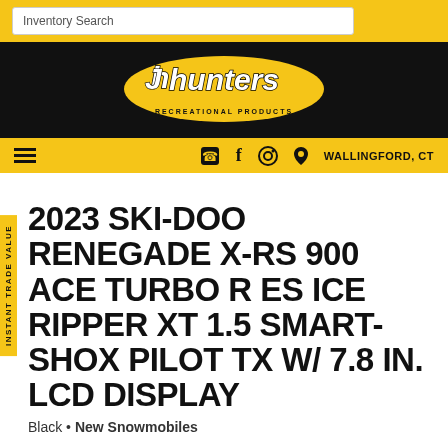Inventory Search
[Figure (logo): Hunter's Recreational Products logo — yellow oval on black background with italic white text and 'RECREATIONAL PRODUCTS' subtitle]
WALLINGFORD, CT
2023 SKI-DOO RENEGADE X-RS 900 ACE TURBO R ES ICE RIPPER XT 1.5 SMART-SHOX PILOT TX W/ 7.8 IN. LCD DISPLAY
Black • New Snowmobiles
MSRP $20,349